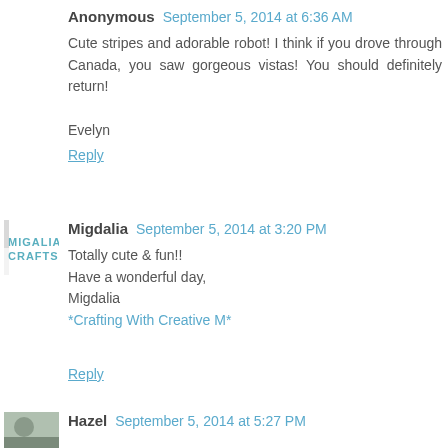Anonymous  September 5, 2014 at 6:36 AM
Cute stripes and adorable robot! I think if you drove through Canada, you saw gorgeous vistas! You should definitely return!

Evelyn
Reply
Migdalia  September 5, 2014 at 3:20 PM
Totally cute & fun!!
Have a wonderful day,
Migdalia
*Crafting With Creative M*
Reply
Hazel  September 5, 2014 at 5:27 PM